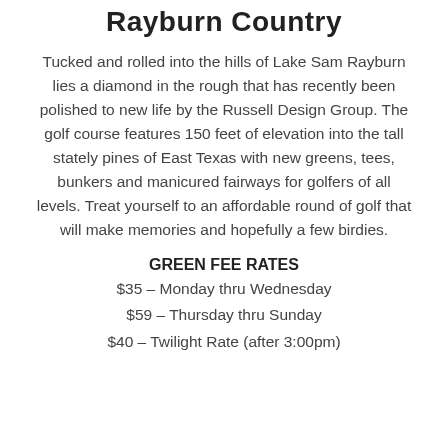Rayburn Country
Tucked and rolled into the hills of Lake Sam Rayburn lies a diamond in the rough that has recently been polished to new life by the Russell Design Group. The golf course features 150 feet of elevation into the tall stately pines of East Texas with new greens, tees, bunkers and manicured fairways for golfers of all levels. Treat yourself to an affordable round of golf that will make memories and hopefully a few birdies.
GREEN FEE RATES
$35 – Monday thru Wednesday
$59 – Thursday thru Sunday
$40 – Twilight Rate (after 3:00pm)